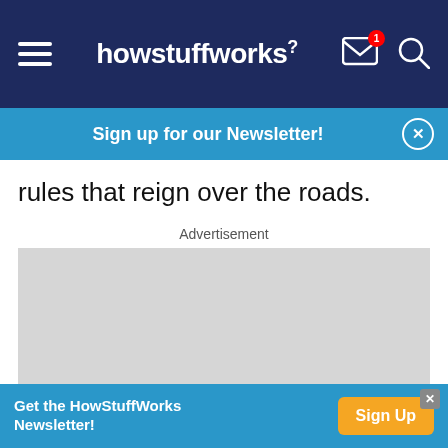howstuffworks
Sign up for our Newsletter!
rules that reign over the roads.
Advertisement
[Figure (other): Grey advertisement placeholder box]
Get the HowStuffWorks Newsletter!